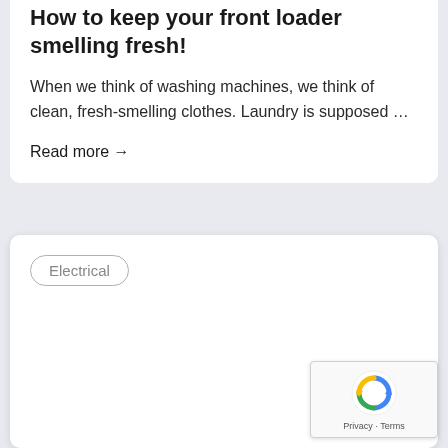How to keep your front loader smelling fresh!
When we think of washing machines, we think of clean, fresh-smelling clothes. Laundry is supposed …
Read more →
Electrical